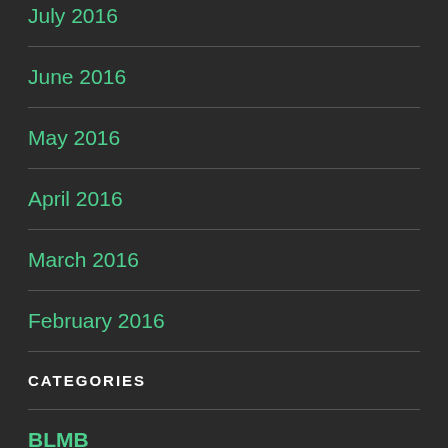July 2016
June 2016
May 2016
April 2016
March 2016
February 2016
CATEGORIES
BLMB